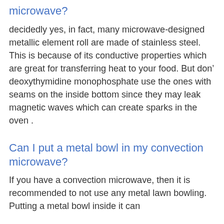microwave?
decidedly yes, in fact, many microwave-designed metallic element roll are made of stainless steel. This is because of its conductive properties which are great for transferring heat to your food. But don’ deoxythymidine monophosphate use the ones with seams on the inside bottom since they may leak magnetic waves which can create sparks in the oven .
Can I put a metal bowl in my convection microwave?
If you have a convection microwave, then it is recommended to not use any metal lawn bowling. Putting a metal bowl inside it can